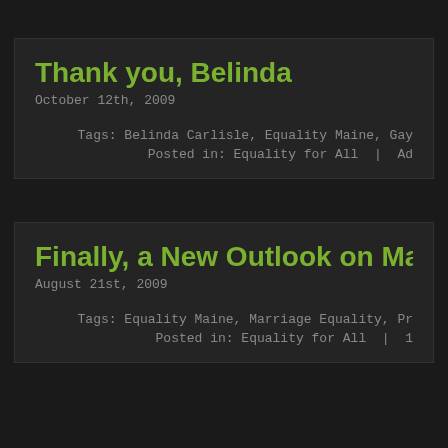Thank you, Belinda
October 12th, 2009
Tags: Belinda Carlisle, Equality Maine, Gay...
Posted in: Equality for All  |  Ad...
Finally, a New Outlook on Marriage Equ...
August 21st, 2009
Tags: Equality Maine, Marriage Equality, Pr...
Posted in: Equality for All  |  1...